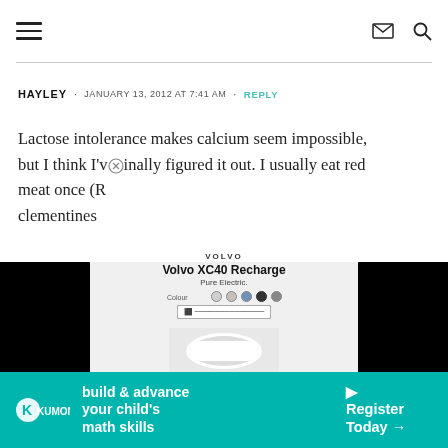Navigation header with hamburger menu, envelope icon, and search icon
HAYLEY • JANUARY 13, 2012 AT 7:41 AM • REPLY
Lactose intolerance makes calcium seem impossible, but I think I've finally figured it out. I usually eat red meat once (R... clementines...
I love the spi... that class so... playlists..
[Figure (screenshot): Volvo XC40 Recharge Pure Electric advertisement overlay with black side panels and color swatches]
[Figure (screenshot): Kumon 'build & advance your child's math skills' advertisement with Register Today button]